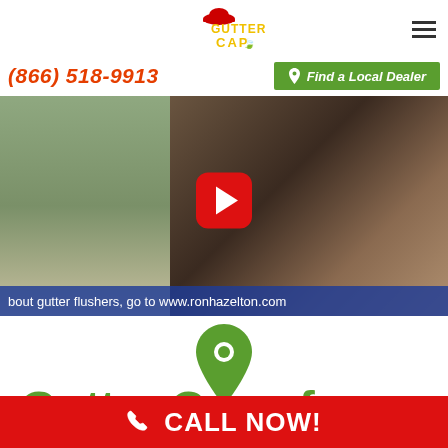[Figure (logo): Gutter Cap logo with red hat icon and yellow/green text]
(866) 518-9913
Find a Local Dealer
[Figure (screenshot): Video thumbnail showing a person cleaning gutters on the left and clogged gutter debris on the right, with a red YouTube play button overlay. Bottom banner text: bout gutter flushers, go to www.ronhazelton.com]
[Figure (illustration): Green map location pin icon]
Gutter Cap of
CALL NOW!